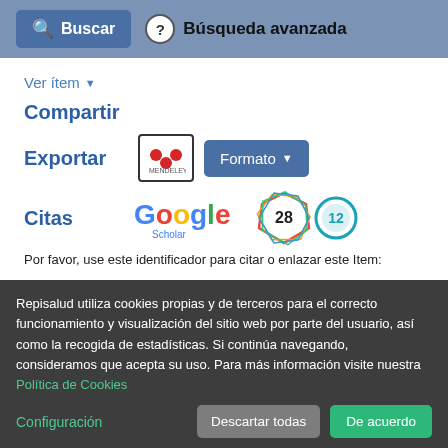Buscar  Búsqueda avanzada
Ver ítem ▾
Compartir
Exportar
[Figure (logo): Mendeley logo icon in a bordered box, and a blue 'Formato▾' dropdown button]
Citas
[Figure (logo): Google Scholar logo, a colorful polygon badge with '28', and a teal circular badge with '12']
Por favor, use este identificador para citar o enlazar este Item:
Repisalud utiliza cookies propias y de terceros para el correcto funcionamiento y visualización del sitio web por parte del usuario, así como la recogida de estadísticas. Si continúa navegando, consideramos que acepta su uso. Para más información visite nuestra Política de Cookies
Configuración
Descartar todas
De acuerdo